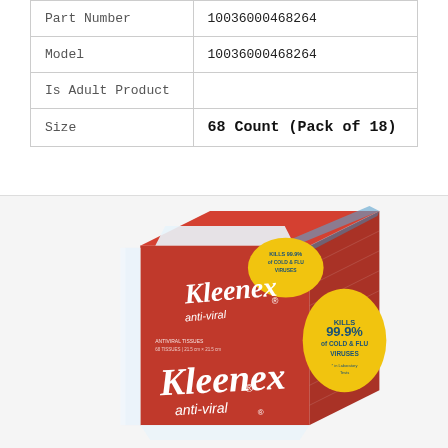| Part Number | 10036000468264 |
| Model | 10036000468264 |
| Is Adult Product |  |
| Size | 68 Count (Pack of 18) |
[Figure (photo): A box of Kleenex Anti-Viral tissues. The box is red with yellow accents and white text. The front reads 'Kleenex anti-viral' in cursive. A yellow burst on the right side reads 'KILLS 99.9% of COLD & FLU VIRUSES'. The bottom front of the box also shows 'Kleenex anti-viral' branding. The box appears to be a cube-shaped tissue box.]